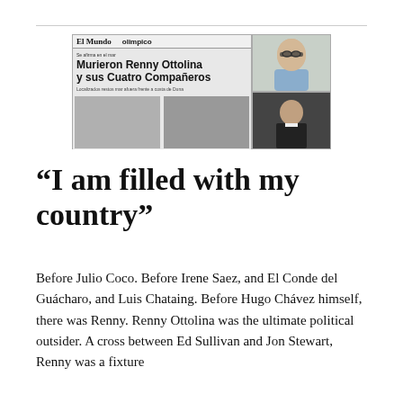[Figure (photo): Composite image showing a Venezuelan newspaper front page 'El Mundo Olimpico' with headline 'Murieron Renny Ottolina y sus Cuatro Compañeros' alongside two photographs: one of a man with glasses (top right) and one of a man in a suit (bottom right).]
“I am filled with my country”
Before Julio Coco. Before Irene Saez, and El Conde del Guácharo, and Luis Chataing. Before Hugo Chávez himself, there was Renny. Renny Ottolina was the ultimate political outsider. A cross between Ed Sullivan and Jon Stewart, Renny was a fixture